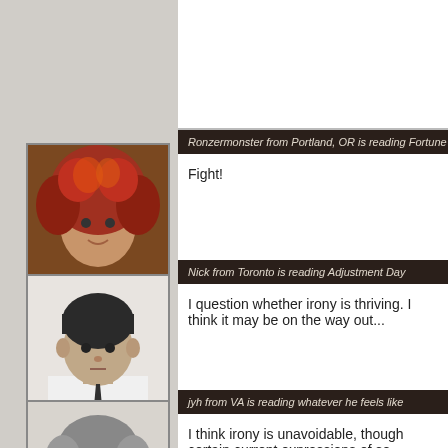Ronzermonster from Portland, OR is reading Fortune Smiles
Fight!
Nick from Toronto is reading Adjustment Day
I question whether irony is thriving. I think it may be on the way out...
jyh from VA is reading whatever he feels like
I think irony is unavoidable, though certain current expressions of so-called...